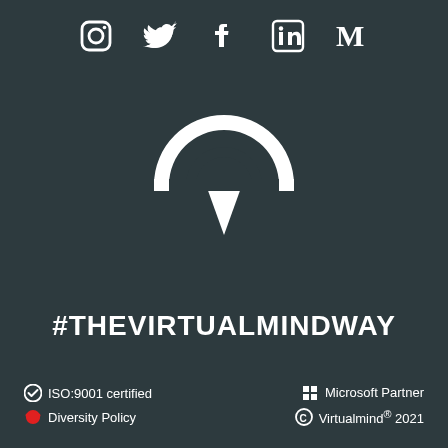[Figure (logo): Social media icons row: Instagram, Twitter, Facebook, LinkedIn, Medium]
[Figure (logo): Virtualmind chat bubble logo - white speech bubble with circular cutout on dark background]
#THEVIRTUALMINDWAY
✔ ISO:9001 certified
❤ Diversity Policy
⊞ Microsoft Partner
© Virtualmind® 2021